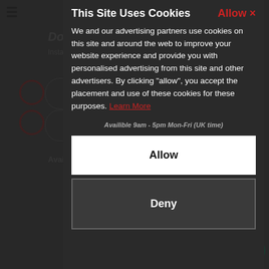[Figure (screenshot): Cookie consent modal overlay on a website. The modal has a dark background with title 'This Site Uses Cookies', an 'Allow x' button in red, body text explaining cookie use with a 'Learn More' link in red, and two buttons: 'Allow' (white) and 'Deny' (dark). Behind the modal is a blurred website page with a hamburger menu, question heading, and other UI elements.]
This Site Uses Cookies
We and our advertising partners use cookies on this site and around the web to improve your website experience and provide you with personalised advertising from this site and other advertisers. By clicking "allow", you accept the placement and use of these cookies for these purposes. Learn More